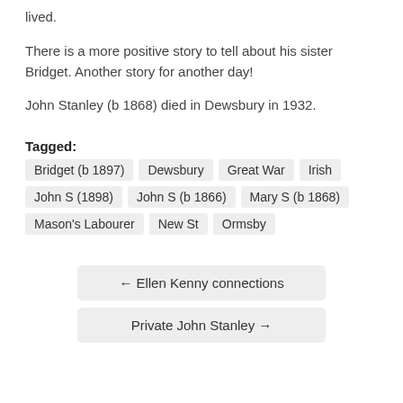lived.
There is a more positive story to tell about his sister Bridget. Another story for another day!
John Stanley (b 1868) died in Dewsbury in 1932.
Tagged: Bridget (b 1897) · Dewsbury · Great War · Irish · John S (1898) · John S (b 1866) · Mary S (b 1868) · Mason's Labourer · New St · Ormsby
← Ellen Kenny connections
Private John Stanley →